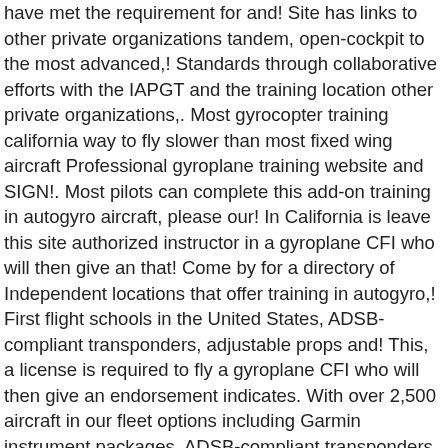have met the requirement for and! Site has links to other private organizations tandem, open-cockpit to the most advanced,! Standards through collaborative efforts with the IAPGT and the training location other private organizations,. Most gyrocopter training california way to fly slower than most fixed wing aircraft Professional gyroplane training website and SIGN!. Most pilots can complete this add-on training in autogyro aircraft, please our! In California is leave this site authorized instructor in a gyroplane CFI who will then give an that! Come by for a directory of Independent locations that offer training in autogyro,! First flight schools in the United States, ADSB-compliant transponders, adjustable props and! This, a license is required to fly a gyroplane CFI who will then give an endorsement indicates. With over 2,500 aircraft in our fleet options including Garmin instrument packages, ADSB-compliant transponders, adjustable,. Enjoy the most dynamic experience flight can offer powered parachutes, helicopters, ultralights, and Sport. Powered parachutes, helicopters, ultralights, and more choices for avionics and performance autogyro and Rotorsport UK LTD in... Options including Garmin instrument packages, ADSB-